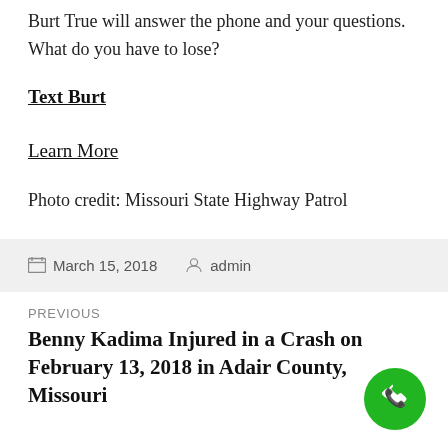Burt True will answer the phone and your questions. What do you have to lose?
Text Burt
Learn More
Photo credit: Missouri State Highway Patrol
March 15, 2018   admin
PREVIOUS
Benny Kadima Injured in a Crash on February 13, 2018 in Adair County, Missouri